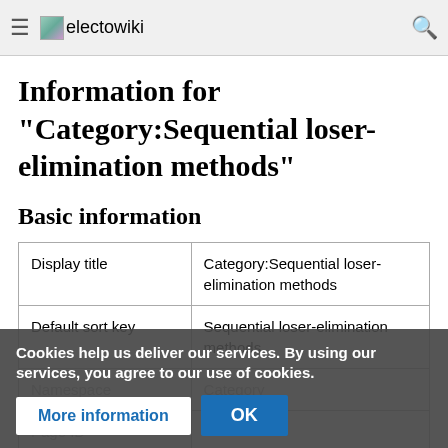electowiki
Information for "Category:Sequential loser-elimination methods"
Basic information
| Display title | Category:Sequential loser-elimination methods |
| Default sort key | Sequential loser-elimination methods |
| Namespace | Category |
| Page ID |  |
Cookies help us deliver our services. By using our services, you agree to our use of cookies.